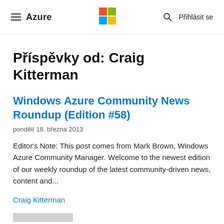Azure | Microsoft logo | Search | Přihlásit se
Příspěvky od: Craig Kitterman
Windows Azure Community News Roundup (Edition #58)
pondělí 18. března 2013
Editor's Note: This post comes from Mark Brown, Windows Azure Community Manager. Welcome to the newest edition of our weekly roundup of the latest community-driven news, content and...
Craig Kitterman